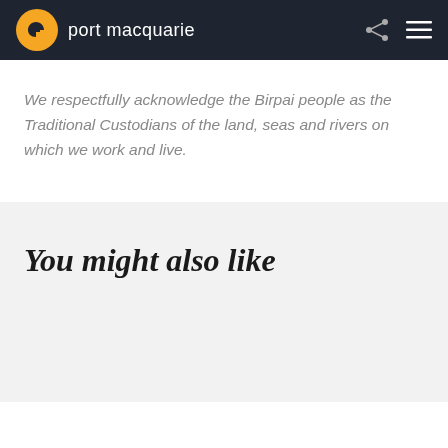port macquarie
We respectfully acknowledge the Birpai people as the Traditional Custodians of the land, seas and rivers on which we work and live.
You might also like